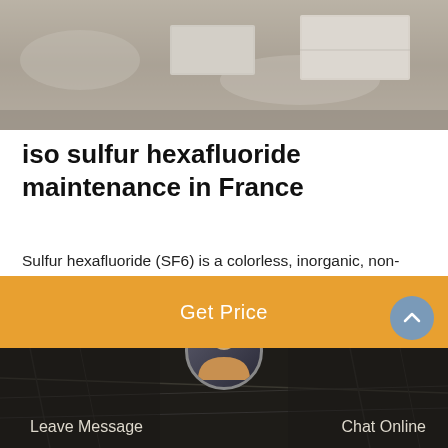[Figure (photo): Top photo showing gravel/stone surface with concrete or equipment blocks]
iso sulfur hexafluoride maintenance in France
Sulfur hexafluoride (SF6) is a colorless, inorganic, non-flammable, inorganic, particularly potent greenhouse gas, and an exceptional electrical insulator. Sulfur Hexafluoride (SF6) has an octahedral geometry, including six fluorine particles involved in a central sulfur atom. It is generally transported as a liquefied compressed gas.
Get Price
[Figure (photo): Bottom bar with dark background showing electrical wires/infrastructure, customer service avatar in center, Leave Message on left, Chat Online on right]